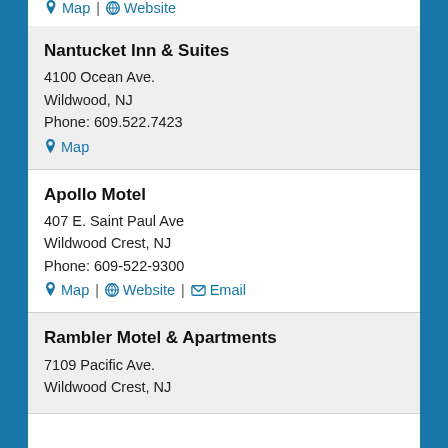Map | Website
Nantucket Inn & Suites
4100 Ocean Ave.
Wildwood, NJ
Phone: 609.522.7423
Map
Apollo Motel
407 E. Saint Paul Ave
Wildwood Crest, NJ
Phone: 609-522-9300
Map | Website | Email
Rambler Motel & Apartments
7109 Pacific Ave.
Wildwood Crest, NJ